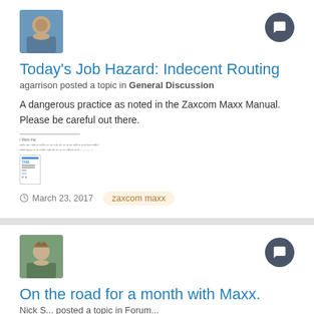[Figure (photo): Avatar photo of a person (agarrison), elderly man with glasses, blue sky background]
Today's Job Hazard: Indecent Routing
agarrison posted a topic in General Discussion
A dangerous practice as noted in the Zaxcom Maxx Manual. Please be careful out there.
[Figure (screenshot): Small thumbnail attachment showing a document page with text and a blue-highlighted diagram]
March 23, 2017   zaxcom maxx
[Figure (photo): Avatar photo of a second user, person outdoors]
On the road for a month with Maxx.
Nick S... posted a topic in Forum...